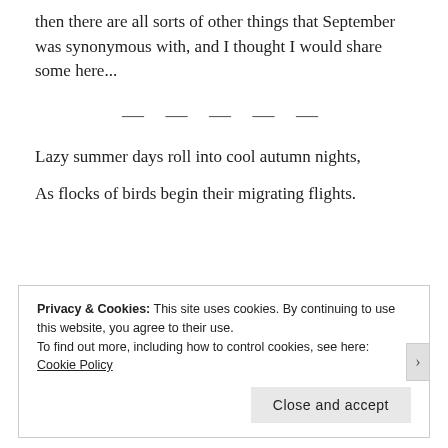then there are all sorts of other things that September was synonymous with, and I thought I would share some here...
— — — — —
Lazy summer days roll into cool autumn nights,
As flocks of birds begin their migrating flights.
Privacy & Cookies: This site uses cookies. By continuing to use this website, you agree to their use.
To find out more, including how to control cookies, see here: Cookie Policy
[Close and accept]